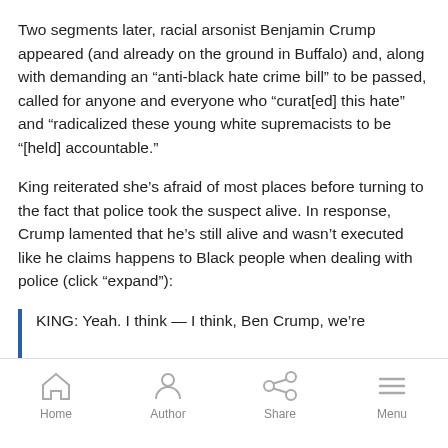Two segments later, racial arsonist Benjamin Crump appeared (and already on the ground in Buffalo) and, along with demanding an “anti-black hate crime bill” to be passed, called for anyone and everyone who “curat[ed] this hate” and “radicalized these young white supremacists to be “[held] accountable.”
King reiterated she’s afraid of most places before turning to the fact that police took the suspect alive. In response, Crump lamented that he’s still alive and wasn’t executed like he claims happens to Black people when dealing with police (click “expand”):
KING: Yeah. I think — I think, Ben Crump, we’re
Home  Author  Share  Menu